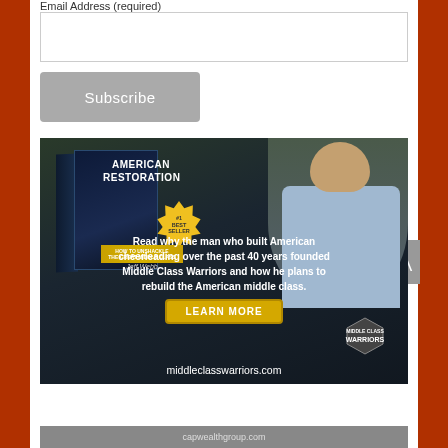Email Address (required)
[email input field]
Subscribe
[Figure (photo): Advertisement for 'American Restoration' book by Jeff Webb (#1 Best Seller). Shows book cover and man with arms crossed. Text: 'Read why the man who built American cheerleading over the past 40 years founded Middle Class Warriors and how he plans to rebuild the American middle class.' Button: 'LEARN MORE'. URL: middleclasswarriors.com. Middle Class Warriors logo bottom right.]
capwealthgroup.com